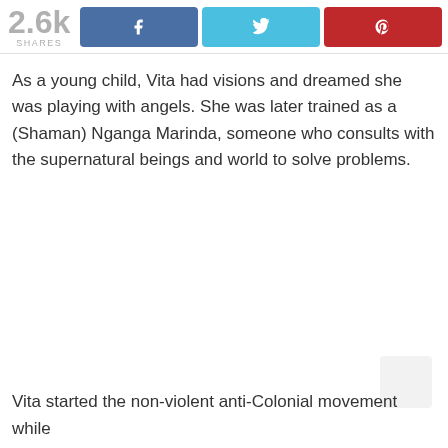[Figure (infographic): Social share bar with 2.6k shares count, Facebook button (blue), Twitter button (light blue), and Pinterest button (red)]
As a young child, Vita had visions and dreamed she was playing with angels. She was later trained as a (Shaman) Nganga Marinda, someone who consults with the supernatural beings and world to solve problems.
Vita started the non-violent anti-Colonial movement while